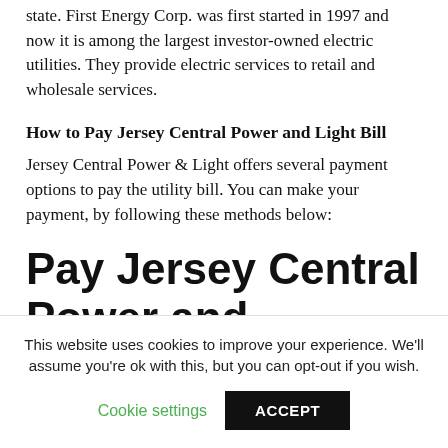state. First Energy Corp. was first started in 1997 and now it is among the largest investor-owned electric utilities. They provide electric services to retail and wholesale services.
How to Pay Jersey Central Power and Light Bill
Jersey Central Power & Light offers several payment options to pay the utility bill. You can make your payment, by following these methods below:
Pay Jersey Central Power and
This website uses cookies to improve your experience. We'll assume you're ok with this, but you can opt-out if you wish.
Cookie settings   ACCEPT